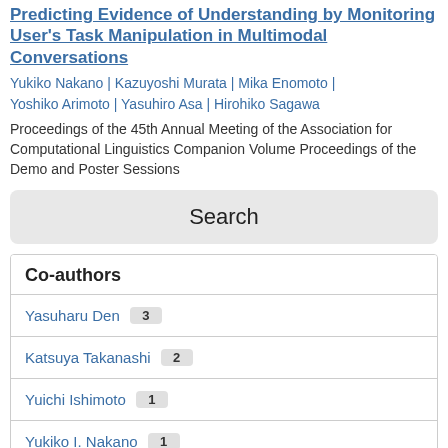Predicting Evidence of Understanding by Monitoring User's Task Manipulation in Multimodal Conversations
Yukiko Nakano | Kazuyoshi Murata | Mika Enomoto | Yoshiko Arimoto | Yasuhiro Asa | Hirohiko Sagawa
Proceedings of the 45th Annual Meeting of the Association for Computational Linguistics Companion Volume Proceedings of the Demo and Poster Sessions
[Figure (other): Search button UI element]
Co-authors
Yasuharu Den  3
Katsuya Takanashi  2
Yuichi Ishimoto  1
Yukiko I. Nakano  1